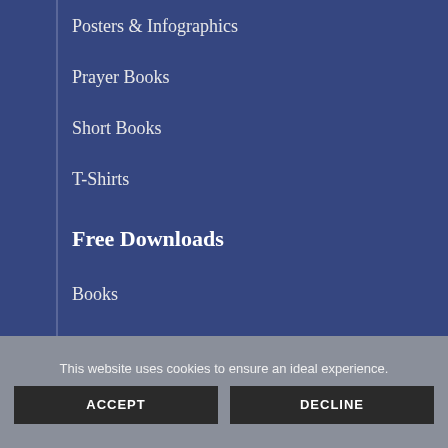Posters & Infographics
Prayer Books
Short Books
T-Shirts
Free Downloads
Books
Short Books/Booklets
Prayer Cards
Audio
This website uses cookies to ensure an ideal experience.
ACCEPT
DECLINE